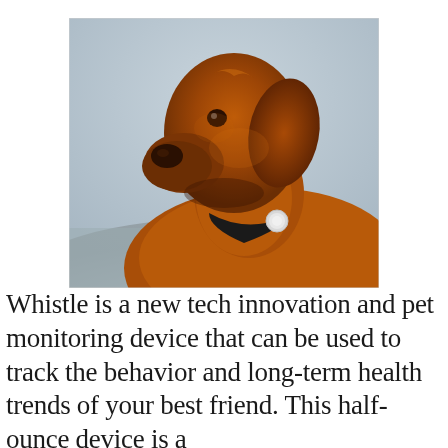[Figure (photo): A golden-brown Labrador dog in profile view looking upward, wearing a black collar with a small round white device (Whistle tracker) attached. The background is a soft blur of sky and ground in muted grey-blue tones.]
Whistle is a new tech innovation and pet monitoring device that can be used to track the behavior and long-term health trends of your best friend. This half-ounce device is a